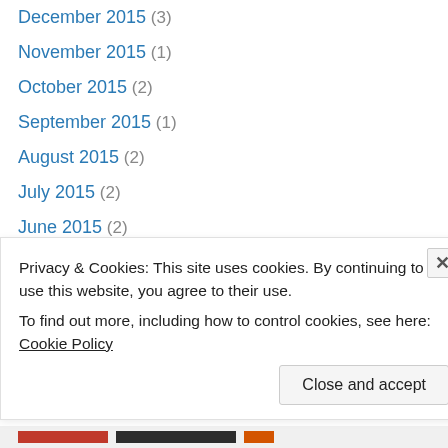December 2015 (3)
November 2015 (1)
October 2015 (2)
September 2015 (1)
August 2015 (2)
July 2015 (2)
June 2015 (2)
May 2015 (1)
April 2015 (1)
March 2015 (1)
February 2015 (2)
December 2014 (2)
September 2014 (2)
August 2014 (2)
Privacy & Cookies: This site uses cookies. By continuing to use this website, you agree to their use.
To find out more, including how to control cookies, see here: Cookie Policy